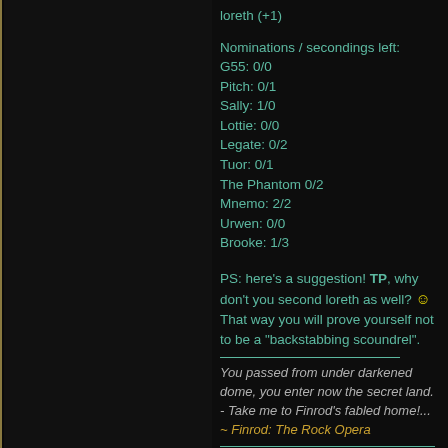loreth (+1)
Nominations / secondings left:
G55: 0/0
Pitch: 0/1
Sally: 1/0
Lottie: 0/0
Legate: 0/2
Tuor: 0/1
The Phantom 0/2
Mnemo: 2/2
Urwen: 0/0
Brooke: 1/3
PS: here's a suggestion! TP, why don't you second loreth as well? 🙂 That way you will prove yourself not to be a "backstabbing scoundrel".
You passed from under darkened dome, you enter now the secret land.  - Take me to Finrod's fabled home!... ~ Finrod: The Rock Opera
Last edited by Galadriel55; 06-22-2011 at 06:30 PM.